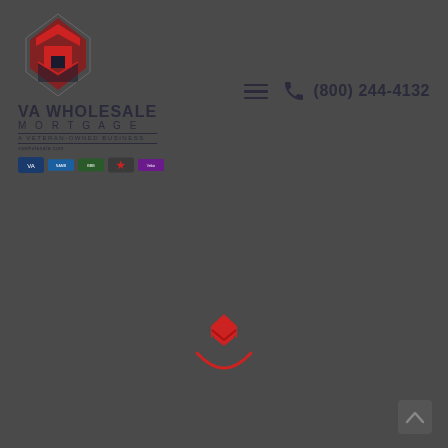[Figure (logo): VA Wholesale Mortgage logo with house/diamond icon, company name, veteran-owned business tagline, URL, and affiliation badges]
(800) 244-4132
[Figure (illustration): VA Wholesale Mortgage loading spinner animation — red diamond/home icon with red curved arc below forming a smile/bowl shape, centered on dark gray background]
[Figure (other): Scroll-to-top chevron button in lower right corner]